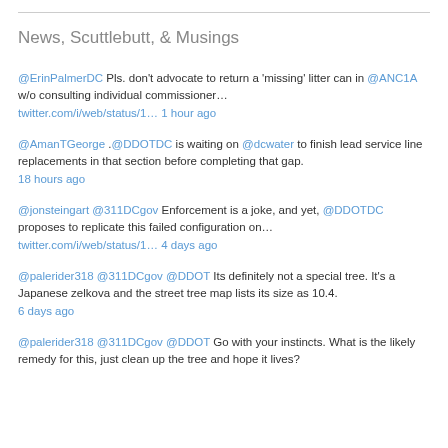News, Scuttlebutt, & Musings
@ErinPalmerDC Pls. don't advocate to return a 'missing' litter can in @ANC1A w/o consulting individual commissioner… twitter.com/i/web/status/1… 1 hour ago
@AmanTGeorge .@DDOTDC is waiting on @dcwater to finish lead service line replacements in that section before completing that gap. 18 hours ago
@jonsteingart @311DCgov Enforcement is a joke, and yet, @DDOTDC proposes to replicate this failed configuration on… twitter.com/i/web/status/1… 4 days ago
@palerider318 @311DCgov @DDOT Its definitely not a special tree. It's a Japanese zelkova and the street tree map lists its size as 10.4. 6 days ago
@palerider318 @311DCgov @DDOT Go with your instincts. What is the likely remedy for this, just clean up the tree and hope it lives?